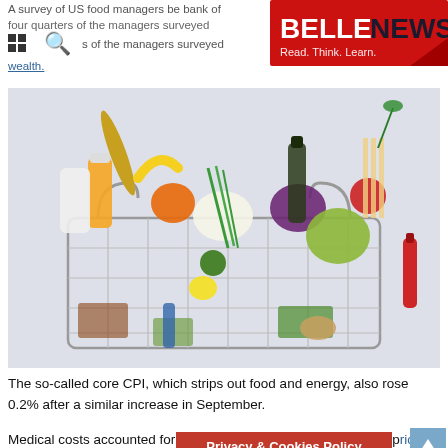A survey of US food managers be bank of four quarters of the managers surveyed wealth.
[Figure (logo): BELLE NEWS logo — red background with white bold text 'BELLE' and dark text 'NEWS', tagline 'Read. Think. Learn.']
[Figure (photo): A wire shopping basket overflowing with various groceries including fruits, vegetables, bottles of juice, pasta, bread, herbs, and other food items on a light background.]
The so-called core CPI, which strips out food and energy, also rose 0.2% after a similar increase in September.
Medical costs accounted for much of the increase. Medical care prices rose 0.7%, the largest increase costs
Privacy & Cookies Policy